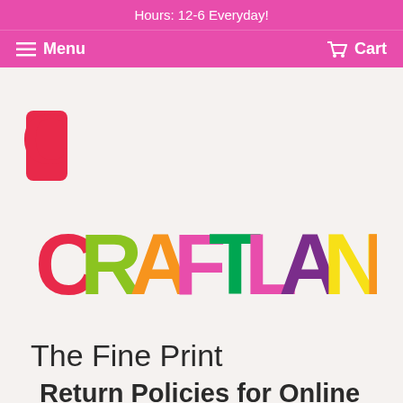Hours: 12-6 Everyday!
Menu   Cart
[Figure (logo): Craftland colorful logo with each letter styled in different bright colors and patterns]
The Fine Print
Return Policies for Online Orders
~ Returns ~